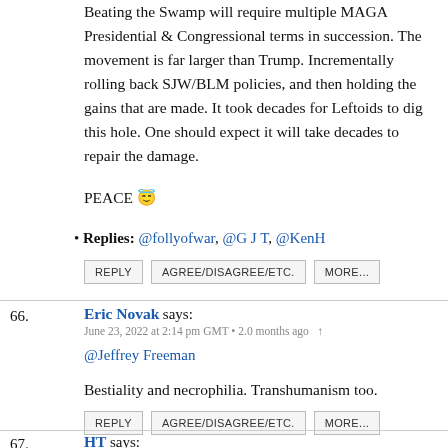Beating the Swamp will require multiple MAGA Presidential & Congressional terms in succession. The movement is far larger than Trump. Incrementally rolling back SJW/BLM policies, and then holding the gains that are made. It took decades for Leftoids to dig this hole. One should expect it will take decades to repair the damage.
PEACE 😇
• Replies: @follyofwar, @G J T, @KenH
REPLY  AGREE/DISAGREE/ETC.  MORE...
66. Eric Novak says: June 23, 2022 at 2:14 pm GMT • 2.0 months ago ↑
@Jeffrey Freeman
Bestiality and necrophilia. Transhumanism too.
REPLY  AGREE/DISAGREE/ETC.  MORE...
67. HT says: